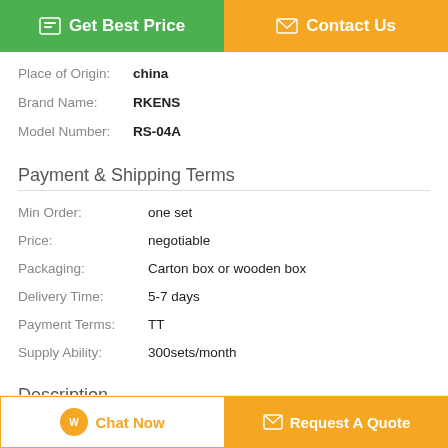[Figure (other): Two buttons: 'Get Best Price' (green) and 'Contact Us' (orange)]
Place of Origin: china
Brand Name: RKENS
Model Number: RS-04A
Payment & Shipping Terms
Min Order: one set
Price: negotiable
Packaging: Carton box or wooden box
Delivery Time: 5-7 days
Payment Terms: TT
Supply Ability: 300sets/month
Description
[Figure (other): Bottom bar with 'Chat Now' and 'Request A Quote' buttons]